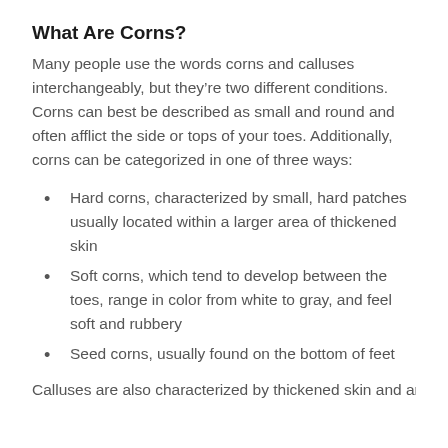What Are Corns?
Many people use the words corns and calluses interchangeably, but they’re two different conditions. Corns can best be described as small and round and often afflict the side or tops of your toes. Additionally, corns can be categorized in one of three ways:
Hard corns, characterized by small, hard patches usually located within a larger area of thickened skin
Soft corns, which tend to develop between the toes, range in color from white to gray, and feel soft and rubbery
Seed corns, usually found on the bottom of feet
Calluses are...